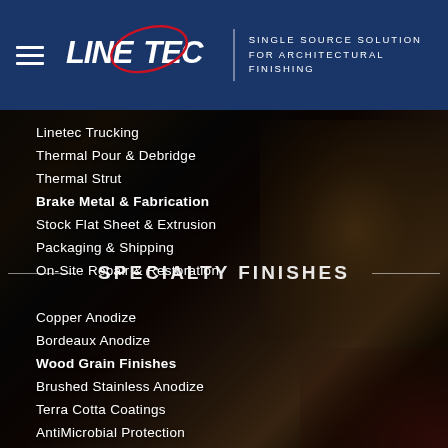[Figure (logo): Linetec logo with tagline 'SINGLE SOURCE SOLUTION for Architectural Finishing' on dark navy header bar]
Linetec Trucking
Thermal Pour & Debridge
Thermal Strut
Brake Metal & Fabrication
Stock Flat Sheet & Extrusion
Packaging & Shipping
On-Site Repair & Restoration
SPECIALTY FINISHES
Copper Anodize
Bordeaux Anodize
Wood Grain Finishes
Brushed Stainless Anodize
Terra Cotta Coatings
AntiMicrobial Protection